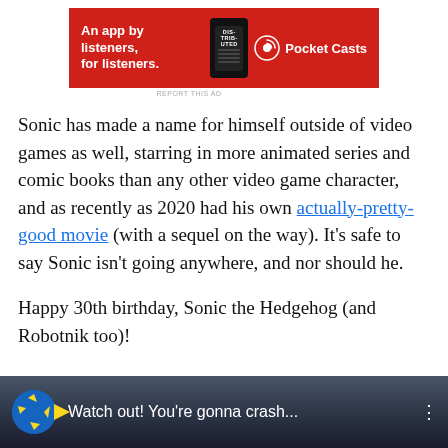[Figure (other): Red Pocket Casts advertisement banner: text 'An app by listeners, for listeners.' on red background with phone graphic and Pocket Casts logo]
Sonic has made a name for himself outside of video games as well, starring in more animated series and comic books than any other video game character, and as recently as 2020 had his own actually-pretty-good movie (with a sequel on the way). It’s safe to say Sonic isn’t going anywhere, and nor should he.
Happy 30th birthday, Sonic the Hedgehog (and Robotnik too)!
[Figure (screenshot): Video thumbnail showing animated Sonic ball and text 'Watch out! You're gonna crash...' on dark background]